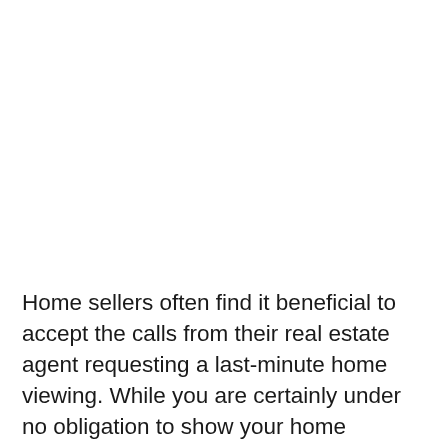Home sellers often find it beneficial to accept the calls from their real estate agent requesting a last-minute home viewing. While you are certainly under no obligation to show your home